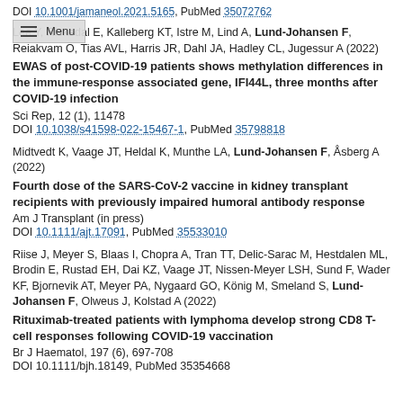DOI 10.1001/jamaneol.2021.5165, PubMed 35072762
Lee Y, Riskedal E, Kalleberg KT, Istre M, Lind A, Lund-Johansen F, Reiakvam O, Tias AVL, Harris JR, Dahl JA, Hadley CL, Jugessur A (2022)
EWAS of post-COVID-19 patients shows methylation differences in the immune-response associated gene, IFI44L, three months after COVID-19 infection
Sci Rep, 12 (1), 11478
DOI 10.1038/s41598-022-15467-1, PubMed 35798818
Midtvedt K, Vaage JT, Heldal K, Munthe LA, Lund-Johansen F, Åsberg A (2022)
Fourth dose of the SARS-CoV-2 vaccine in kidney transplant recipients with previously impaired humoral antibody response
Am J Transplant (in press)
DOI 10.1111/ajt.17091, PubMed 35533010
Riise J, Meyer S, Blaas I, Chopra A, Tran TT, Delic-Sarac M, Hestdalen ML, Brodin E, Rustad EH, Dai KZ, Vaage JT, Nissen-Meyer LSH, Sund F, Wader KF, Bjornevik AT, Meyer PA, Nygaard GO, König M, Smeland S, Lund-Johansen F, Olweus J, Kolstad A (2022)
Rituximab-treated patients with lymphoma develop strong CD8 T-cell responses following COVID-19 vaccination
Br J Haematol, 197 (6), 697-708
DOI 10.1111/bjh.18149, PubMed 35354668